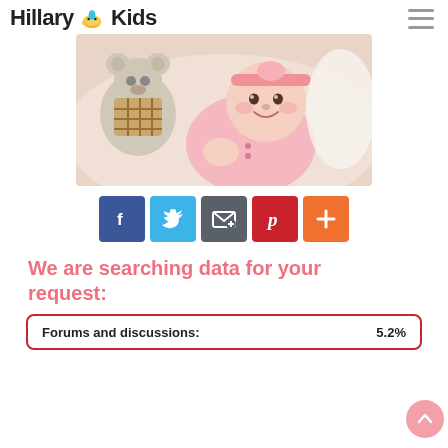Hillary Kids
[Figure (photo): Smiling baby in pink outfit lying next to a white teddy bear, wearing a pink headband]
[Figure (infographic): Row of five social sharing buttons: Facebook (blue), Twitter (light blue), Email/envelope (dark grey), Pinterest (red), More/plus (orange)]
We are searching data for your request:
| Forums and discussions: | 5.2% |
| --- | --- |